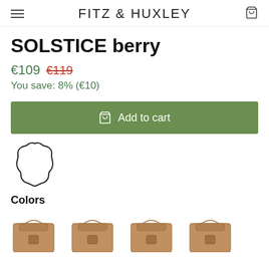FITZ & HUXLEY
SOLSTICE berry
€109  €119
You save: 8% (€10)
[Figure (illustration): Add to cart button with shopping bag icon, olive green background]
[Figure (illustration): Leather hide / hide shape icon outline]
Colors
[Figure (illustration): Four small tan/caramel colored satchel bag product thumbnails shown in a row]